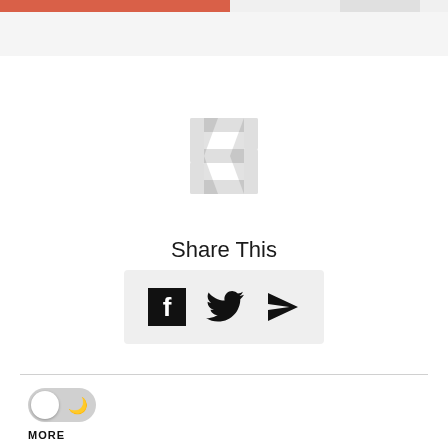[Figure (screenshot): Top navigation bar with salmon/coral colored progress bar on left portion and light gray bar on right, on a light gray background]
[Figure (logo): Watermark logo in light gray — stylized interlocking geometric/lattice symbol]
Share This
[Figure (infographic): Share buttons box with Facebook, Twitter, and send/navigation icon on light gray background]
[Figure (infographic): Toggle switch (dark mode toggle) with moon icon, followed by MORE label below]